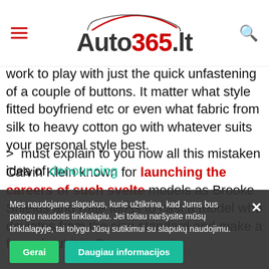Auto365.lt
work to play with just the quick unfastening of a couple of buttons. It matter what style fitted boyfriend etc or even what fabric from silk to heavy cotton go with whatever suits your personal style best.
Calvin Klein known for launching the careers of such svelte models as Brooke Shields and Kate Moss to cast a model who deviates from the size standard and make a fuss about it to D...
must explain to you now all this mistaken idea of denouncing
Mes naudojame slapukus, kurie užtikrina, kad Jums bus patogu naudotis tinklalapiu. Jei toliau naršysite mūsų tinklalapyje, tai tolygu Jūsų sutikimui su slapukų naudojimu.